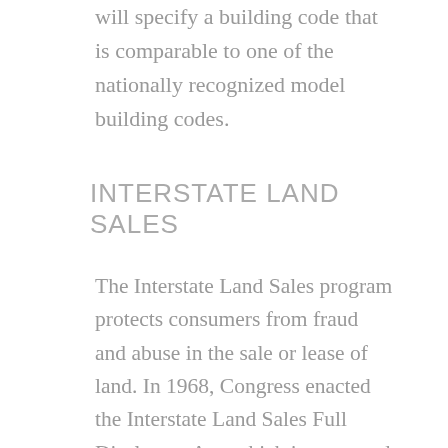will specify a building code that is comparable to one of the nationally recognized model building codes.
INTERSTATE LAND SALES
The Interstate Land Sales program protects consumers from fraud and abuse in the sale or lease of land. In 1968, Congress enacted the Interstate Land Sales Full Disclosure Act, which is patterned after the Securities Law of 1933, and requires land developers to register subdivisions of 100 or more non-exempt lots with HUD, and to provide each purchaser with a disclosure document